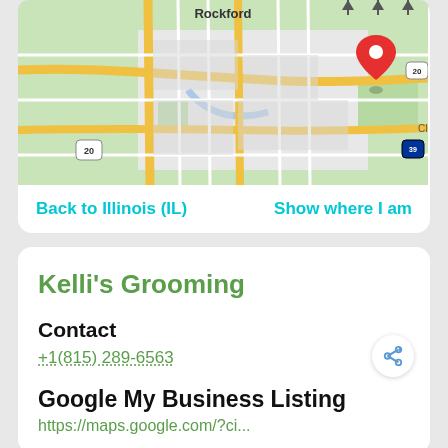[Figure (map): Google Maps showing Rockford, IL area with a red location pin marker on the east side, highway 20 and interstate 39 visible]
Back to Illinois (IL)
Show where I am
Kelli's Grooming
Contact
+1(815) 289-6563
Google My Business Listing
https://maps.google.com/?ci...